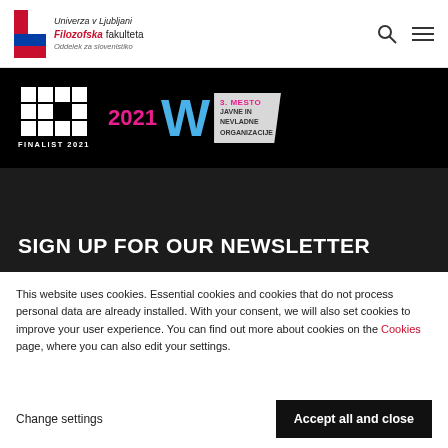Univerza v Ljubljani Filozofska fakulteta Oddelek za slovenistiko
[Figure (logo): NETKO FINALIST 2021 logo with pixel-grid letters on black background, and a 2021 award badge showing 3. MESTO JAVNE IN NEVLADNE ORGANIZACIJE with a blue W letter]
SIGN UP FOR OUR NEWSLETTER
A
A
(I
This website uses cookies. Essential cookies and cookies that do not process personal data are already installed. With your consent, we will also set cookies to improve your user experience. You can find out more about cookies on the Cookies page, where you can also edit your settings.
Change settings
Accept all and close